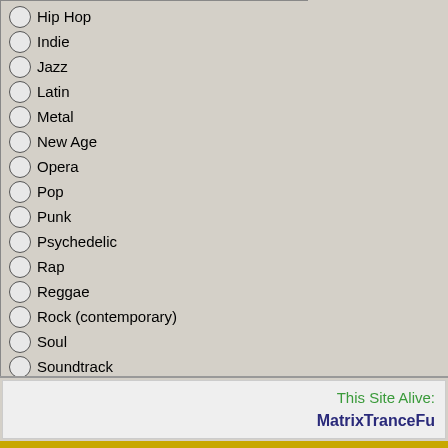Hip Hop
Indie
Jazz
Latin
Metal
New Age
Opera
Pop
Punk
Psychedelic
Rap
Reggae
Rock (contemporary)
Soul
Soundtrack
Trance
Techno
Vote
Results
This Site Alive:
MatrixTranceFu